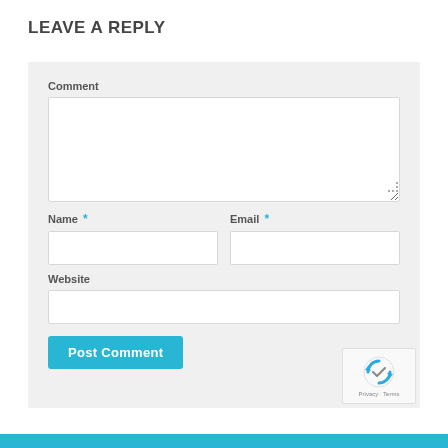LEAVE A REPLY
Comment
Name *
Email *
Website
Post Comment
[Figure (logo): reCAPTCHA badge with logo and Privacy - Terms text]